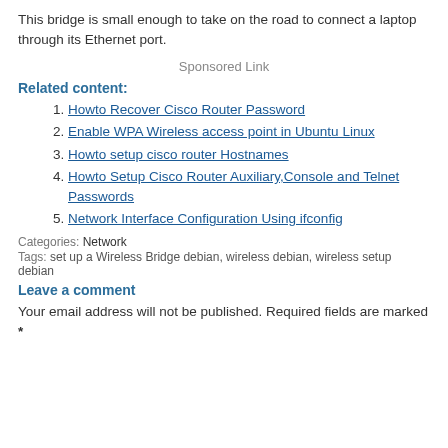This bridge is small enough to take on the road to connect a laptop through its Ethernet port.
Sponsored Link
Related content:
Howto Recover Cisco Router Password
Enable WPA Wireless access point in Ubuntu Linux
Howto setup cisco router Hostnames
Howto Setup Cisco Router Auxiliary,Console and Telnet Passwords
Network Interface Configuration Using ifconfig
Categories: Network
Tags: set up a Wireless Bridge debian, wireless debian, wireless setup debian
Leave a comment
Your email address will not be published. Required fields are marked *